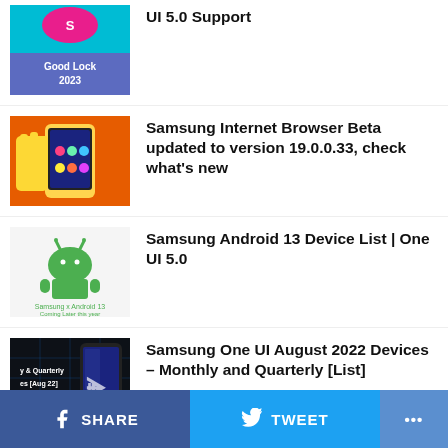UI 5.0 Support
Samsung Internet Browser Beta updated to version 19.0.0.33, check what's new
Samsung Android 13 Device List | One UI 5.0
Samsung One UI August 2022 Devices – Monthly and Quarterly [List]
[Update: USA] Samsung Galaxy A12 Android 12/One UI 4.1 starts rolling out
SHARE   TWEET   ...